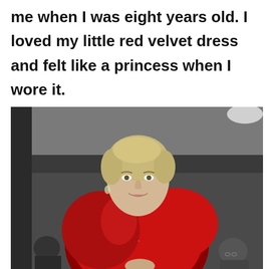me when I was eight years old. I loved my little red velvet dress and felt like a princess when I wore it.
[Figure (photo): Vintage black and white photograph of a young blonde woman smiling, wearing a bold red velvet dress or cape, with other people visible in the background in what appears to be an indoor social setting.]